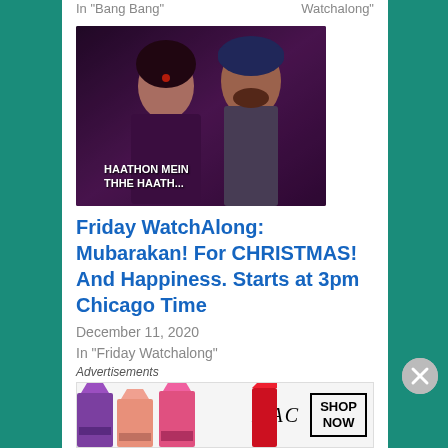In "Bang Bang"
Watchalong"
[Figure (photo): Video thumbnail for Mubarakan song 'Haathon Mein Thhe Haath' showing two people close together, with HD FULL VIDEO label on the side]
Friday WatchAlong: Mubarakan! For CHRISTMAS! And Happiness. Starts at 3pm Chicago Time
December 11, 2020
In "Friday Watchalong"
This entry was posted in Uncategorized and tagged Dishoom, FridayWatchalong by mredlich21. Bookmark the permalink.
Advertisements
[Figure (photo): MAC cosmetics advertisement showing colorful lipsticks with MAC logo and SHOP NOW button]